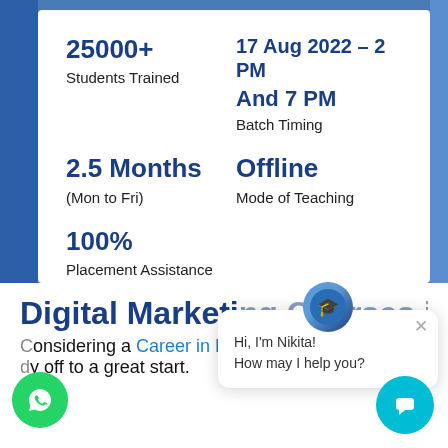25000+
Students Trained
17 Aug 2022 – 2 PM And 7 PM
Batch Timing
2.5 Months
(Mon to Fri)
Offline
Mode of Teaching
100%
Placement Assistance
Hi, I'm Nikita!
How may I help you?
Digital Marketing Courses in Pune
Considering a Career in Digital Marketing? You're already off to a great start.